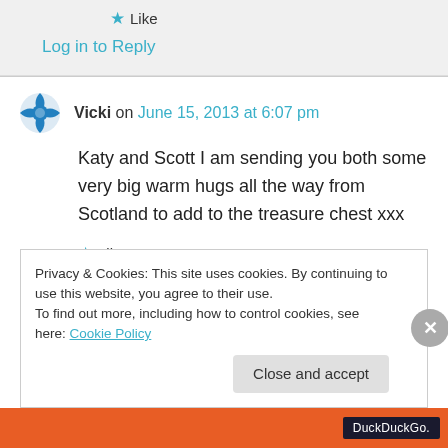★ Like
Log in to Reply
Vicki on June 15, 2013 at 6:07 pm
Katy and Scott I am sending you both some very big warm hugs all the way from Scotland to add to the treasure chest xxx
★ Like
Log in to Reply
Privacy & Cookies: This site uses cookies. By continuing to use this website, you agree to their use.
To find out more, including how to control cookies, see here: Cookie Policy
Close and accept